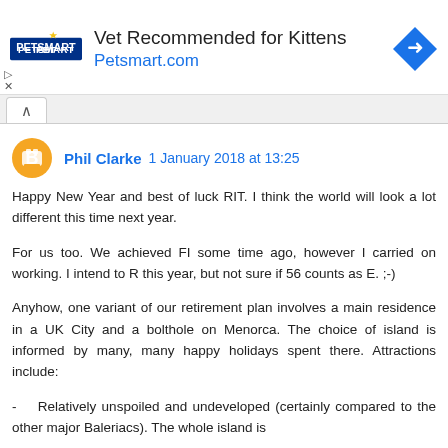[Figure (other): PetSmart advertisement banner. Logo on left, headline 'Vet Recommended for Kittens', URL 'Petsmart.com' in blue, blue diamond arrow icon on right.]
Phil Clarke 1 January 2018 at 13:25
Happy New Year and best of luck RIT. I think the world will look a lot different this time next year.
For us too. We achieved FI some time ago, however I carried on working. I intend to R this year, but not sure if 56 counts as E. ;-)
Anyhow, one variant of our retirement plan involves a main residence in a UK City and a bolthole on Menorca. The choice of island is informed by many, many happy holidays spent there. Attractions include:
- Relatively unspoiled and undeveloped (certainly compared to the other major Baleriacs). The whole island is